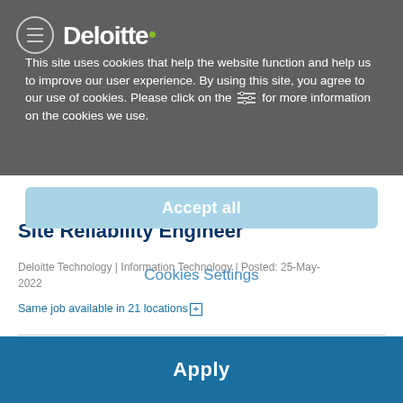This site uses cookies that help the website function and help us to improve our user experience. By using this site, you agree to our use of cookies. Please click on the [filter icon] for more information on the cookies we use.
Site Reliability Engineer
Deloitte Technology | Information Technology | Posted: 25-May-2022
Same job available in 21 locations [+]
Position summary:
Do you thrive on developing creative and innovative insights to solve complex challenges? Want to work on next-generation, cutting-edge products and services that deliver outstanding value and that are global in vision...